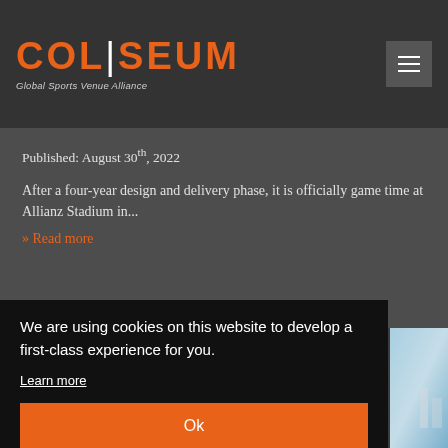COLISEUM Global Sports Venue Alliance
Published: August 30th, 2022
After a four-year design and delivery phase, it is officially game time at Allianz Stadium in...
» Read more
We are using cookies on this website to develop a first-class experience for you.
Learn more
Ok